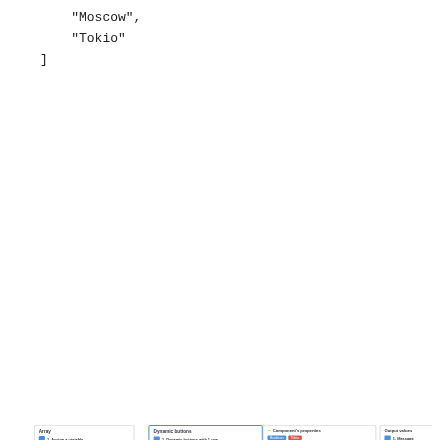"Moscow",
    "Tokio"
]
[Figure (screenshot): A workflow diagram showing connected nodes: Array box with steps (1. Assign a variable, 2. Forward), Dynamic buttons box with steps (1. Dynamic buttons with 1 row, 2. User input, 3. Forward), Component's Properties panel with configuration options (Boolean/Tokio tags, navigation controls, general settings, enable link previews checkbox, trigger, messenger and links, patterns, duration), and Output values box with 1. Message step. Arrows connect Array to Dynamic buttons, and Dynamic buttons to Output values.]